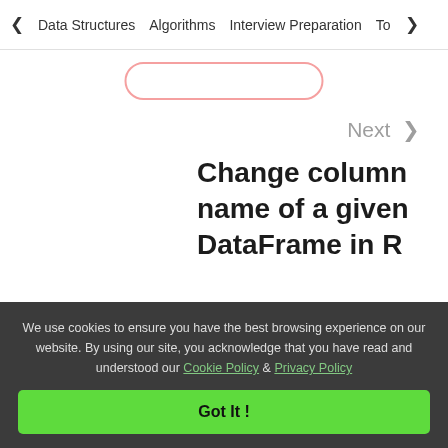< Data Structures   Algorithms   Interview Preparation   Top>
Next >
Change column name of a given DataFrame in R
We use cookies to ensure you have the best browsing experience on our website. By using our site, you acknowledge that you have read and understood our Cookie Policy & Privacy Policy
Got It !